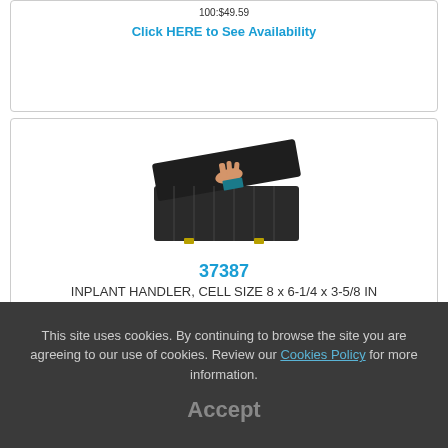Internet Price: 1:$... | 25:$... | 50:$... | 100:$49.59
Click HERE to See Availability
[Figure (photo): Black inplant handler storage case with lid open, showing compartments inside, with a hand placing an item]
37387
INPLANT HANDLER, CELL SIZE 8 x 6-1/4 x 3-5/8 IN
Technical Information
Qty: 1  Add to Cart
Reg. Price: 1:$64.86 | 25:$59.63 | 50:$54.89 | 100:$50.48
Internet Price: 1:$58.96 | 25:$54.21 | 50:$49.90 | 100:$45.89
This site uses cookies. By continuing to browse the site you are agreeing to our use of cookies. Review our Cookies Policy for more information. Accept